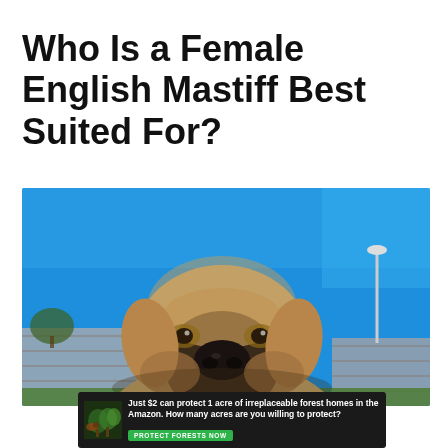Who Is a Female English Mastiff Best Suited For?
[Figure (photo): Close-up photo of a female English Mastiff dog with fawn/tan coat and black muzzle, wearing a pink studded collar, photographed from low angle against a clear blue sky. A lamp post is visible in the background, along with a grey fence and green grass.]
Just $2 can protect 1 acre of irreplaceable forest homes in the Amazon. How many acres are you willing to protect? PROTECT FORESTS NOW